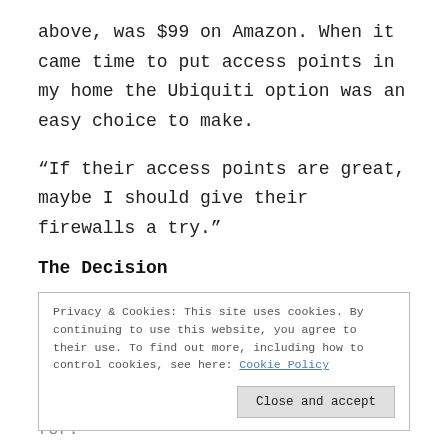above, was $99 on Amazon. When it came time to put access points in my home the Ubiquiti option was an easy choice to make.
“If their access points are great, maybe I should give their firewalls a try.”
The Decision
Privacy & Cookies: This site uses cookies. By continuing to use this website, you agree to their use. To find out more, including how to control cookies, see here: Cookie Policy
Close and accept
that Ubiquiti was originally known for.